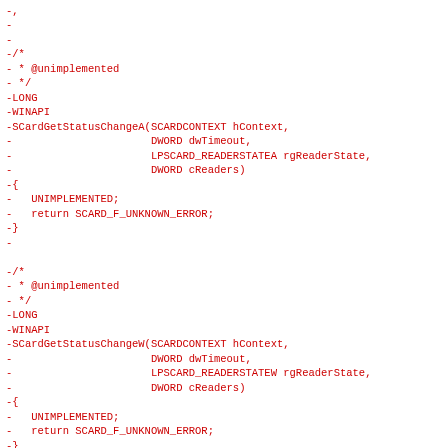Deleted/removed source code lines showing SCardGetStatusChangeA and SCardGetStatusChangeW unimplemented stubs in C